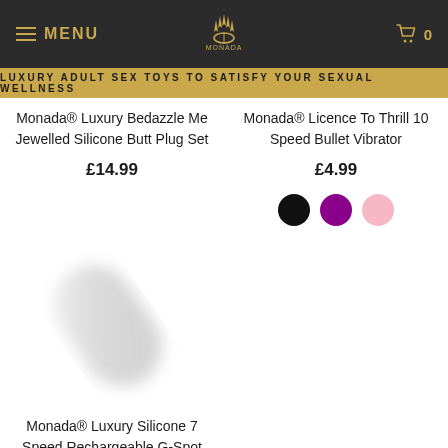MENU | [logo] | 0
LUXURY ADULT SEX TOYS TO SATISFY YOUR SEXUAL WELLNESS
Monada® Luxury Bedazzle Me Jewelled Silicone Butt Plug Set
£14.99
Monada® Licence To Thrill 10 Speed Bullet Vibrator
£4.99
[Figure (illustration): Three color swatches: black, purple, pink]
[Figure (photo): White/grey blurred product image of a vibrator]
Monada® Luxury Silicone 7 Speed Rechargeable G-Spot